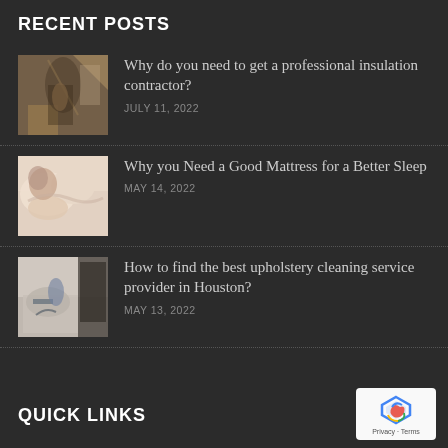RECENT POSTS
Why do you need to get a professional insulation contractor? | JULY 11, 2022
Why you Need a Good Mattress for a Better Sleep | MAY 14, 2022
How to find the best upholstery cleaning service provider in Houston? | MAY 13, 2022
QUICK LINKS
[Figure (logo): Google reCAPTCHA badge with Privacy and Terms links]